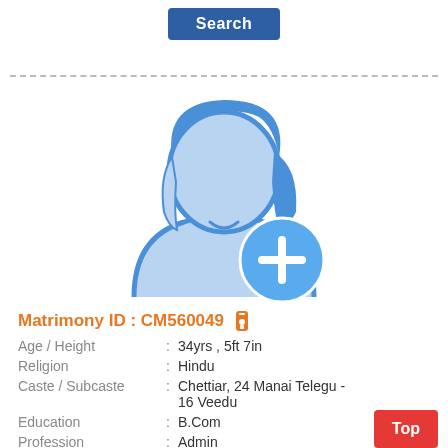[Figure (illustration): Search button at the top center of the page]
[Figure (illustration): Female profile placeholder avatar with a blue add (+) icon circle at bottom right]
Matrimony ID : CM560049
Age / Height : 34yrs , 5ft 7in
Religion : Hindu
Caste / Subcaste : Chettiar, 24 Manai Telegu - 16 Veedu
Education : B.Com
Profession : Admin
Gender : Female / Bride